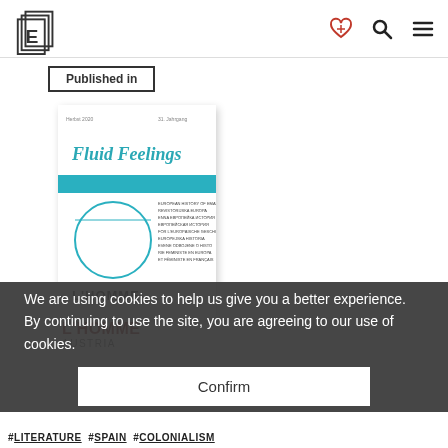E [logo] | [heart icon] | [search icon] | [menu icon]
Published in
[Figure (illustration): Book cover thumbnail for 'Fluid Feelings' in L'HOMME journal, showing title in teal cursive text, a teal horizontal band, and a circular diagram with multilingual text, with 'L'HOMME' at the bottom in bold.]
We are using cookies to help us give you a better experience. By continuing to use the site, you are agreeing to our use of cookies.
Confirm
L'HOMME
AUSTRIA
#LITERATURE #SPAIN #COLONIALISM